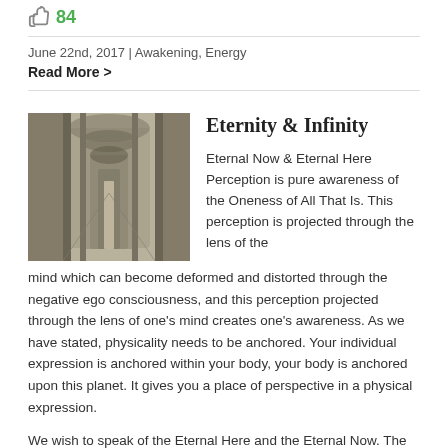84
June 22nd, 2017  |  Awakening, Energy
Read More >
[Figure (photo): Black and white photograph of an ancient stone corridor with arched doorways receding into the distance]
Eternity & Infinity
Eternal Now & Eternal Here Perception is pure awareness of the Oneness of All That Is. This perception is projected through the lens of the mind which can become deformed and distorted through the negative ego consciousness, and this perception projected through the lens of one's mind creates one's awareness. As we have stated, physicality needs to be anchored. Your individual expression is anchored within your body, your body is anchored upon this planet. It gives you a place of perspective in a physical expression.
We wish to speak of the Eternal Here and the Eternal Now. The Eternal Now...